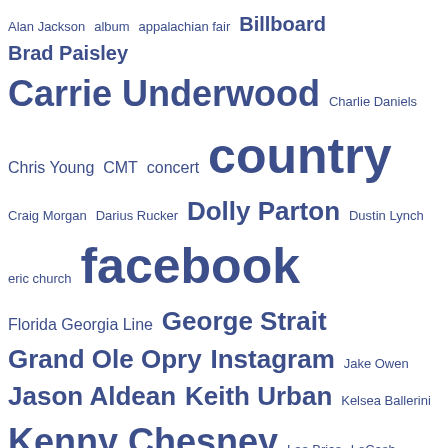[Figure (infographic): Word cloud of country music related terms in blue/navy color. Larger words appear more frequently. Terms include: Twitter (largest), facebook, Nashville, country, music, Luke Bryan, Grand Ole Opry, Instagram, Carrie Underwood, Kenny Chesney, Jason Aldean, Keith Urban, Miranda Lambert, Tenn., Dolly Parton, Brad Paisley, Billboard, Chris Young, CMT, George Strait, Randy Houser, Scotty McCreery, show, song, youtube, Spotify, Tim McGraw, Toby Keith, trace adkins, LoCash, Lee Brice, Kelsea Ballerini, Jake Owen, eric church, Florida Georgia Line, concert, Darius Rucker, Dustin Lynch, Craig Morgan, Charlie Daniels, Alan Jackson, album, appalachian fair, Northeast Tennessee, quot]